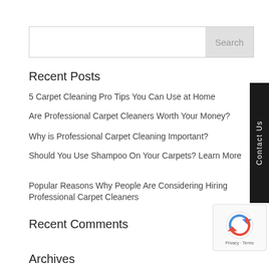[Figure (other): Search input bar with Search button on right]
Recent Posts
5 Carpet Cleaning Pro Tips You Can Use at Home
Are Professional Carpet Cleaners Worth Your Money?
Why is Professional Carpet Cleaning Important?
Should You Use Shampoo On Your Carpets? Learn More
Popular Reasons Why People Are Considering Hiring Professional Carpet Cleaners
Recent Comments
Archives